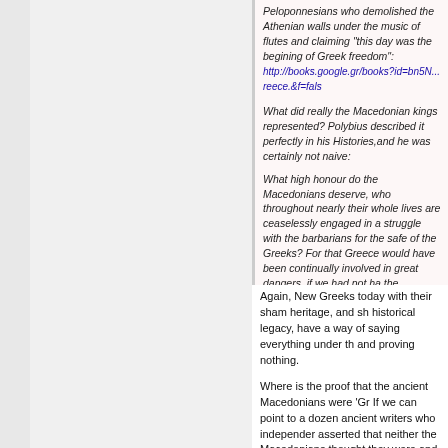Peloponnesians who demolished the Athenian walls under the music of flutes and claiming "this day was the begining of Greek freedom": http://books.google.gr/books?id=bn5N...reece.&f=fals
What did really the Macedonian kings represented? Polybius described it perfectly in his Histories,and he was certainly not naive:
What high honour do the Macedonians deserve, who throughout nearly their whole lives are ceaselessly engaged in a struggle with the barbarians for the safety of the Greeks? For that Greece would have been continually involved in great dangers, if we had not had the Macedonians and the ambition of their kings as a barrier, who is ignorant? http://www.perseus.tufts.edu/hopper/...3Achapter%3D
Again, New Greeks today with their sham heritage, and shameful historical legacy, have a way of saying everything under the sun and proving nothing.
Where is the proof that the ancient Macedonians were 'Greeks'? If we can point to a dozen ancient writers who independently asserted that neither the Macedonians thought they were Greeks and neither the Greeks (individually and as a whole), thought they were Greeks, you can't do much better than that.
The only reason these New Greeks are saying what they are saying is because they want Macedonia to claim that...